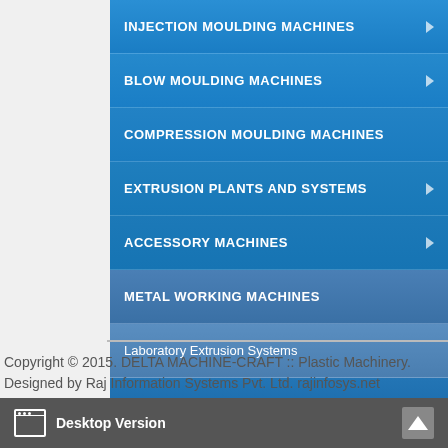INJECTION MOULDING MACHINES
BLOW MOULDING MACHINES
COMPRESSION MOULDING MACHINES
EXTRUSION PLANTS AND SYSTEMS
ACCESSORY MACHINES
METAL WORKING MACHINES
Laboratory Extrusion Systems
HOME
PLASTIC MACHINERY
Copyright © 2015. DELTA MACHINE-CRAFT :: Plastic Machinery. Designed by Raj Information Systems Pvt. Ltd. rajinfosys.net
Desktop Version